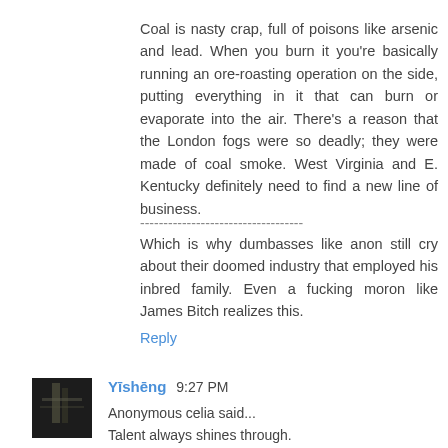Coal is nasty crap, full of poisons like arsenic and lead. When you burn it you're basically running an ore-roasting operation on the side, putting everything in it that can burn or evaporate into the air. There's a reason that the London fogs were so deadly; they were made of coal smoke. West Virginia and E. Kentucky definitely need to find a new line of business.
-----------------------------------
Which is why dumbasses like anon still cry about their doomed industry that employed his inbred family. Even a fucking moron like James Bitch realizes this.
Reply
Yīshēng  9:27 PM
Anonymous celia said...
Talent always shines through.
>>>>>>

Yes dear, I know!!